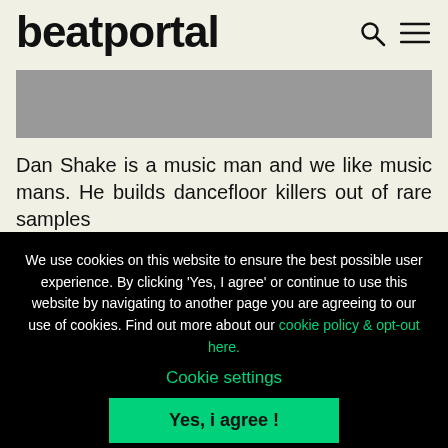beatportal
[Figure (other): Gray banner image placeholder]
Dan Shake is a music man and we like music mans. He builds dancefloor killers out of rare samples
We use cookies on this website to ensure the best possible user experience. By clicking 'Yes, I agree' or continue to use this website by navigating to another page you are agreeing to our use of cookies. Find out more about our cookie policy & opt-out here.
Cookie settings
Yes, i agree !